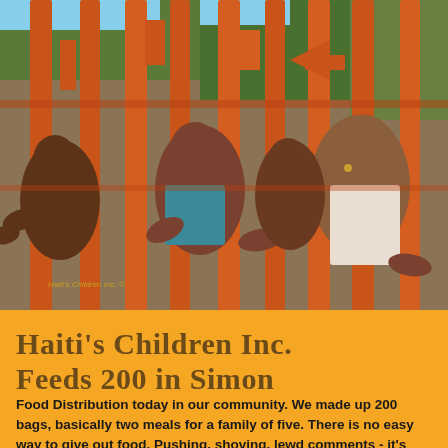[Figure (photo): People reaching through orange decorative iron gate bars, hands outstretched. Multiple people crowding around the gate trying to reach through. The gate has decorative cutout shapes. Background shows trees and outdoor scene.]
Haiti's Children Inc. Feeds 200 in Simon
Food Distribution today in our community. We made up 200 bags, basically two meals for a family of five. There is no easy way to give out food. Pushing, shoving, lewd comments - it's never enough. We will never understand the